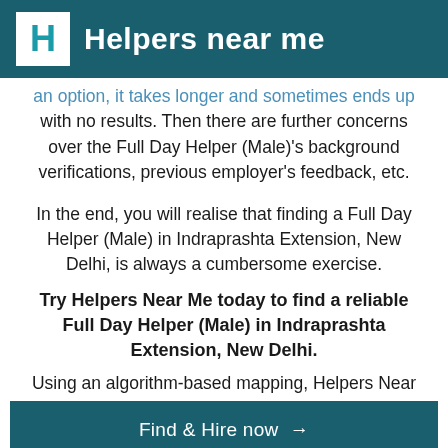Helpers near me
an option, it takes longer and sometimes ends up with no results. Then there are further concerns over the Full Day Helper (Male)'s background verifications, previous employer's feedback, etc.
In the end, you will realise that finding a Full Day Helper (Male) in Indraprashta Extension, New Delhi, is always a cumbersome exercise.
Try Helpers Near Me today to find a reliable Full Day Helper (Male) in Indraprashta Extension, New Delhi.
Using an algorithm-based mapping, Helpers Near Delhi, in just 3 simple steps. Helpers Near Me is
[Figure (other): Find & Hire now button - call to action button with teal/dark blue background]